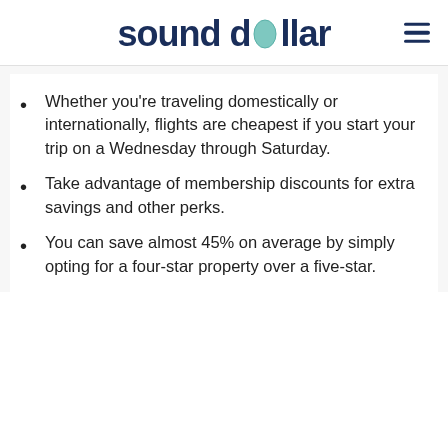sound dollar
Whether you're traveling domestically or internationally, flights are cheapest if you start your trip on a Wednesday through Saturday.
Take advantage of membership discounts for extra savings and other perks.
You can save almost 45% on average by simply opting for a four-star property over a five-star.